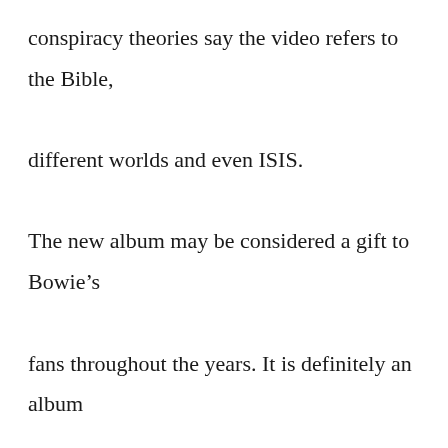conspiracy theories say the video refers to the Bible, different worlds and even ISIS.

The new album may be considered a gift to Bowie’s fans throughout the years. It is definitely an album that can be appreciated, despite its unusual (and slightly disturbing) vibes, melodies and meanings. Fans will be pleased that they get one last taste of Bowie’s music. Although not personally my style, some may say it’s “extraordinary.”

“Blackstar” has been striking much success, being